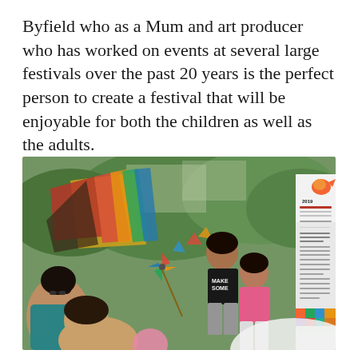Byfield who as a Mum and art producer who has worked on events at several large festivals over the past 20 years is the perfect person to create a festival that will be enjoyable for both the children as well as the adults.
[Figure (photo): Outdoor festival scene with children and adults. In the foreground, a woman and a child are partially visible. In the middle, two young children stand near colorful fabric decorations and pinwheels. On the right side, a colorful festival banner/poster is visible with text and illustrations. Trees and green foliage are visible in the background.]